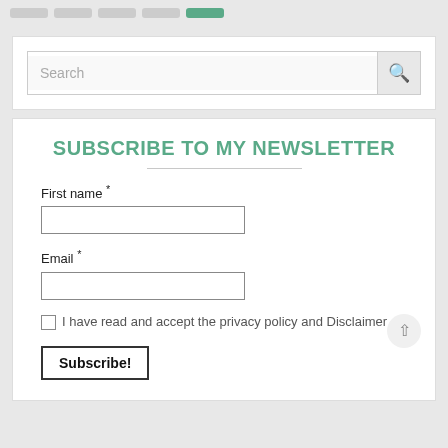Navigation bar with pills
Search
SUBSCRIBE TO MY NEWSLETTER
First name *
Email *
I have read and accept the privacy policy and Disclaimer
Subscribe!